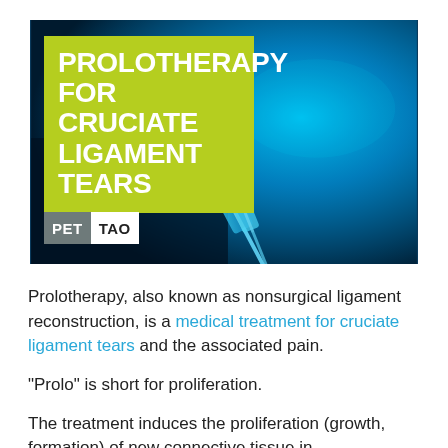[Figure (illustration): Hero banner image showing medical syringes on a dark teal/blue background. Overlaid with a yellow-green rectangle containing bold white text 'PROLOTHERAPY FOR CRUCIATE LIGAMENT TEARS' and a PET TAO logo badge at bottom left.]
Prolotherapy, also known as nonsurgical ligament reconstruction, is a medical treatment for cruciate ligament tears and the associated pain.
“Prolo” is short for proliferation.
The treatment induces the proliferation (growth, formation) of new connective tissue in